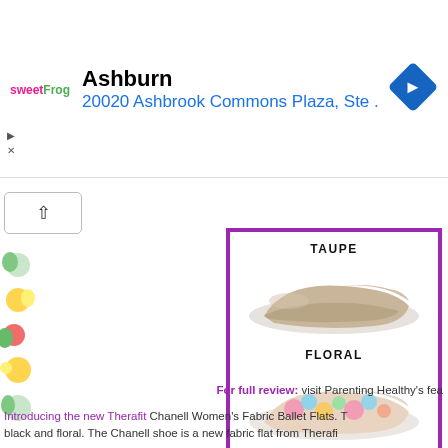[Figure (photo): sweetFrog advertisement banner showing location: Ashburn, 20020 Ashbrook Commons Plaza, Ste. with navigation arrow diamond icon]
[Figure (photo): Three women's ballet flat shoes displayed with labels: TAUPE (beige textured shoe), FLORAL (colorful floral print shoe), BLACK (dark grey/black shoe). Text reads 'Winner chooses color & size' and 'www.parentinghealthy.com'. Image has purple border.]
For full review: visit Parenting Healthy's fea
Introducing the new Therafit Chanell Women's Fabric Ballet Flats. T black and floral. The Chanell shoe is a new fabric flat from Therafi